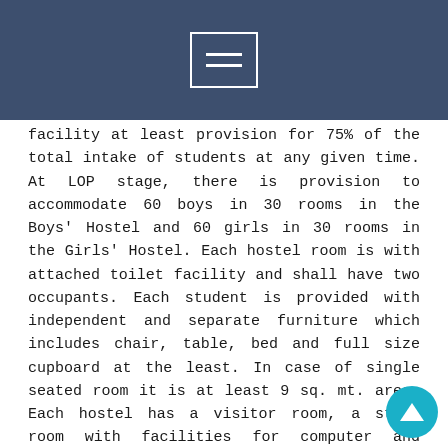facility at least provision for 75% of the total intake of students at any given time. At LOP stage, there is provision to accommodate 60 boys in 30 rooms in the Boys' Hostel and 60 girls in 30 rooms in the Girls' Hostel. Each hostel room is with attached toilet facility and shall have two occupants. Each student is provided with independent and separate furniture which includes chair, table, bed and full size cupboard at the least. In case of single seated room it is at least 9 sq. mt. area. Each hostel has a visitor room, a study room with facilities for computer and internet which is air-conditioned. There is a recreational facility room having T.V., Music and other recreational facilities for students.